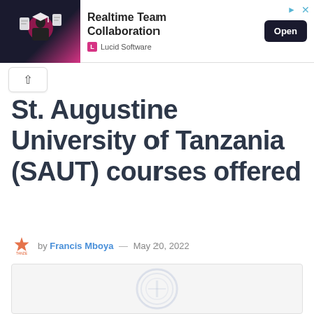[Figure (screenshot): Advertisement banner for Lucid Software showing 'Realtime Team Collaboration' with an Open button and a dark background image with a person and document icons]
St. Augustine University of Tanzania (SAUT) courses offered
by Francis Mboya — May 20, 2022
[Figure (photo): Article featured image with a faint watermark/seal of St. Augustine University of Tanzania on a light grey background]